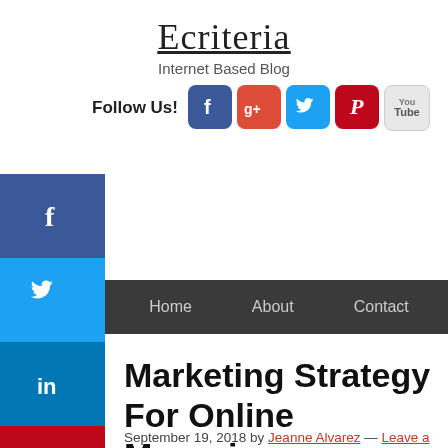Ecriteria
Internet Based Blog
Follow Us!
[Figure (other): Social media sidebar with Facebook, Twitter, LinkedIn, and Pinterest icons on the left side of the page]
[Figure (other): Social media follow icons: Facebook (blue), Google+ (red), Twitter (light blue), Pinterest (red), YouTube (grey)]
Home   About   Contact
Marketing Strategy For Online Magazine
September 19, 2018 by Jeanne Alvarez — Leave a Comment